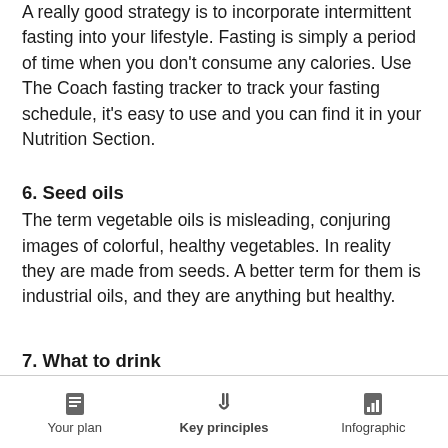A really good strategy is to incorporate intermittent fasting into your lifestyle. Fasting is simply a period of time when you don't consume any calories. Use The Coach fasting tracker to track your fasting schedule, it's easy to use and you can find it in your Nutrition Section.
6. Seed oils
The term vegetable oils is misleading, conjuring images of colorful, healthy vegetables. In reality they are made from seeds. A better term for them is industrial oils, and they are anything but healthy.
7. What to drink
Your plan   Key principles   Infographic